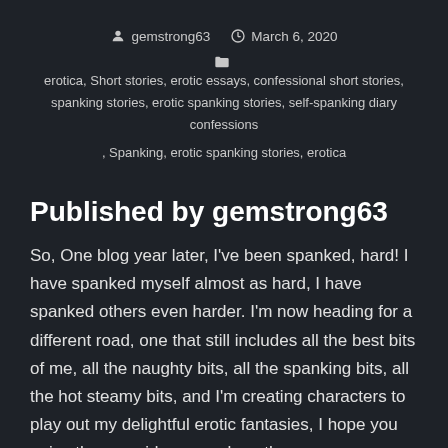gemstrong63   March 6, 2020
erotica, Short stories, erotic essays, confessional short stories, spanking stories, erotic spanking stories, self-spanking diary confessions
, Spanking, erotic spanking stories, erotica
Published by gemstrong63
So, One blog year later, I've been spanked, hard! I have spanked myself almost as hard, I have spanked others even harder. I'm now heading for a different road, one that still includes all the best bits of me, all the naughty bits, all the spanking bits, all the hot steamy bits, and I'm creating characters to play out my delightful erotic fantasies, I hope you enjoy the new ride as much as the